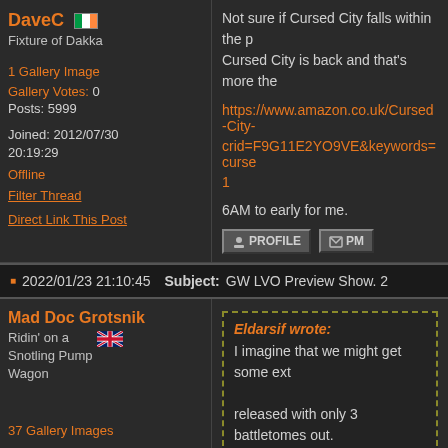DaveC
Fixture of Dakka
1 Gallery Image
Gallery Votes: 0
Posts: 5999
Joined: 2012/07/30 20:19:29
Offline
Filter Thread
Direct Link This Post
Not sure if Cursed City falls within the p... Cursed City is back and that's more the...
https://www.amazon.co.uk/Cursed-City-... crid=F9G11E2YO9VE&keywords=curse... 1
6AM to early for me.
2022/01/23 21:10:45  Subject: GW LVO Preview Show. 2
Mad Doc Grotsnik
Ridin' on a Snotling Pump Wagon
Eldarsif wrote:
I imagine that we might get some ext... released with only 3 battletomes out.
37 Gallery Images